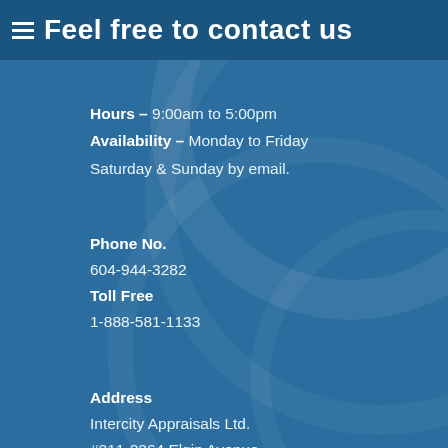Feel free to contact us
Hours – 9:00am to 5:00pm
Availability – Monday to Friday
Saturday & Sunday by email.
Phone No.
604-944-3282
Toll Free
1-888-581-1133
Address
Intercity Appraisals Ltd.
#211-2264 Elgin Avenue,
Port Coquitlam, B.C.
V3C 2B2